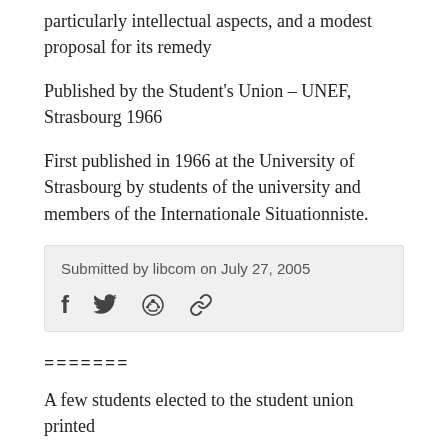particularly intellectual aspects, and a modest proposal for its remedy
Published by the Student's Union – UNEF, Strasbourg 1966
First published in 1966 at the University of Strasbourg by students of the university and members of the Internationale Situationniste.
Submitted by libcom on July 27, 2005
[Figure (infographic): Social sharing icons: Facebook (f), Twitter (bird), Reddit (alien), and a link/chain icon]
=======
A few students elected to the student union printed